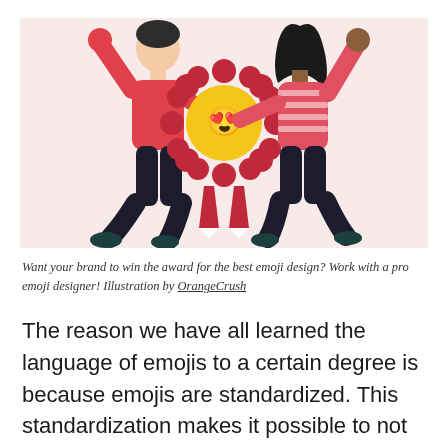[Figure (illustration): Two illustrated people jumping joyfully on a pink background, holding a red award ribbon/rosette with a smiling heart-eyes emoji face in the center. The person on the left wears a red top and dark pants; the person on the right wears a red striped top and dark pants.]
Want your brand to win the award for the best emoji design? Work with a pro emoji designer! Illustration by OrangeCrush
The reason we have all learned the language of emojis to a certain degree is because emojis are standardized. This standardization makes it possible to not only preserve the